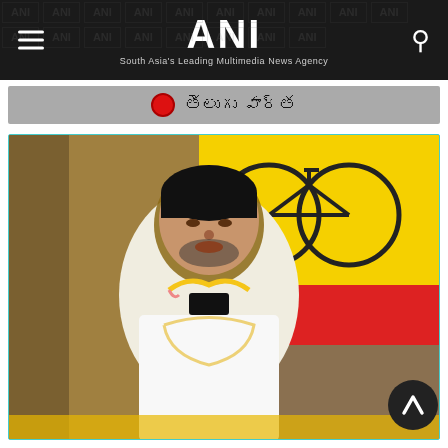ANI – South Asia's Leading Multimedia News Agency
🔴 తెలుగు వార్త
[Figure (photo): A man in a white shirt with a garland speaking into an ANI microphone, with a Telugu Desam Party banner (yellow and red with bicycle logo) visible in the background]